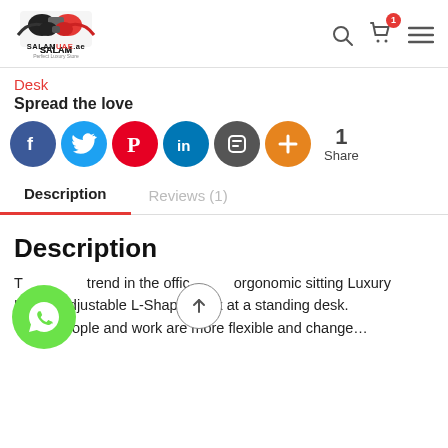SALAMUAE.ae - Perfect Luxury Store header with search, cart (1 item), and menu icons
Desk
Spread the love
[Figure (infographic): Social share icons: Facebook (blue), Twitter (light blue), Pinterest (red), LinkedIn (dark blue), Blogger (dark grey), Plus (orange). Share count: 1 Share]
Description
Reviews (1)
Description
The trend in the office ergonomic sitting Luxury Height Adjustable L-Shape Desk at a standing desk. When people and work are more flexible and change...